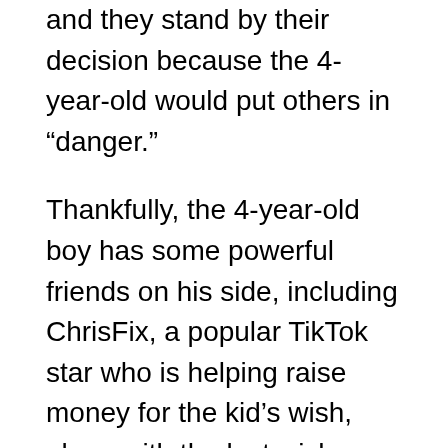and they stand by their decision because the 4-year-old would put others in “danger.”
Thankfully, the 4-year-old boy has some powerful friends on his side, including ChrisFix, a popular TikTok star who is helping raise money for the kid’s wish, along with the last wish organization Wigs & Wishes.
That means this youngster will be headed to meet Mickey and have a fun time with his family, thank God. However, the cruelty and evil of the Make-a-Wish Foundation won’t be forgotten.
This heartless organization can act like it's just